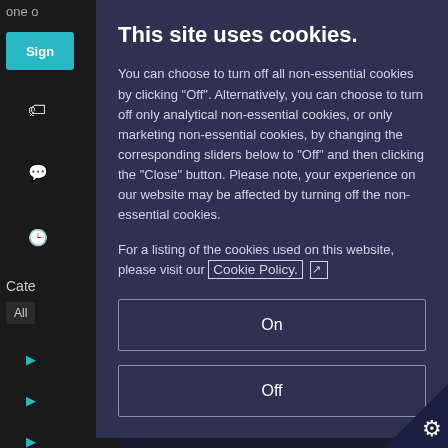This site uses cookies.
You can choose to turn off all non-essential cookies by clicking "Off". Alternatively, you can choose to turn off only analytical non-essential cookies, or only marketing non-essential cookies, by changing the corresponding sliders below to "Off" and then clicking the "Close" button. Please note, your experience on our website may be affected by turning off the non-essential cookies.
For a listing of the cookies used on this website, please visit our Cookie Policy.